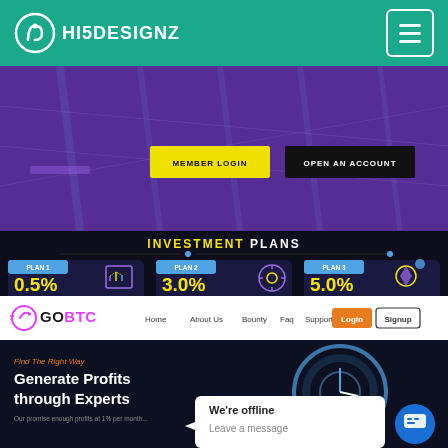HI5DESIGNZ
[Figure (screenshot): Investment platform hero section with purple background, two buttons: MEMBER LOGIN (yellow) and OPEN AN ACCOUNT (black). Below is a dark Investment Plans section showing three plan cards: Plan 1 0.5% Daily for 365 Business Days, Plan 2 3.0% Daily for 100 Business Days, Plan 3 5.0% Daily for 10 Business Days.]
[Figure (screenshot): GOBTC website screenshot showing navigation bar with Home, About Us, Bounty, Faq, Support links, Login and Signup buttons. Below is a dark hero section with 'Find The Right Way' tagline and 'Generate Profits through Experts' heading with a gear/clock graphic. A chat popup shows 'We're offline / Leave a message' with a blue chat button.]